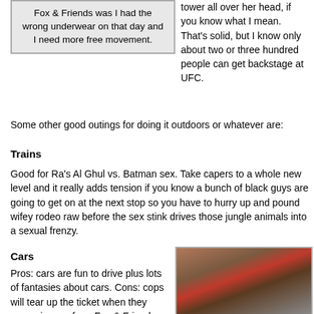Fox & Friends was I had the wrong underwear on that day and I need more free movement.
tower all over her head, if you know what I mean. That's solid, but I know only about two or three hundred people can get backstage at UFC.
Some other good outings for doing it outdoors or whatever are:
Trains
Good for Ra's Al Ghul vs. Batman sex. Take capers to a whole new level and it really adds tension if you know a bunch of black guys are going to get on at the next stop so you have to hurry up and pound wifey rodeo raw before the sex stink drives those jungle animals into a sexual frenzy.
Cars
Pros: cars are fun to drive plus lots of fantasies about cars. Cons: cops will tear up the ticket when they recognize me from Fox & Friends but sometimes might catch a
[Figure (photo): Photo of a woman in a red dress with a man, appearing to be in a car or vehicle interior]